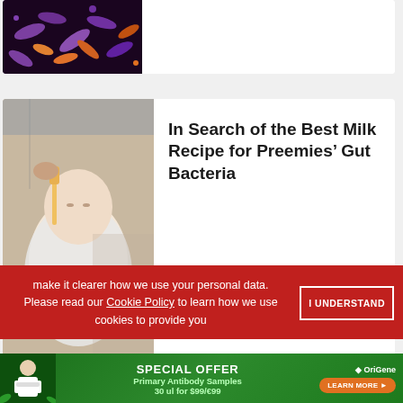[Figure (photo): Colorful microscopic image of bacteria (purple and orange rod-shaped bacteria on dark background) - partial view at top of page]
[Figure (photo): Close-up photo of premature baby being bottle-fed in hospital setting, wearing white wrappings]
In Search of the Best Milk Recipe for Preemies’ Gut Bacteria
[Figure (infographic): Row of social media icons: Facebook, Twitter, Instagram, LinkedIn, YouTube, Vimeo - all black rounded square icons]
make it clearer how we use your personal data.
Please read our Cookie Policy to learn how we use cookies to provide you
I UNDERSTAND
[Figure (photo): Advertisement banner for OriGene: SPECIAL OFFER - Primary Antibody Samples 30 ul for $99/€99 with LEARN MORE button, green background with scientist figure]
ADVERTISEMENT